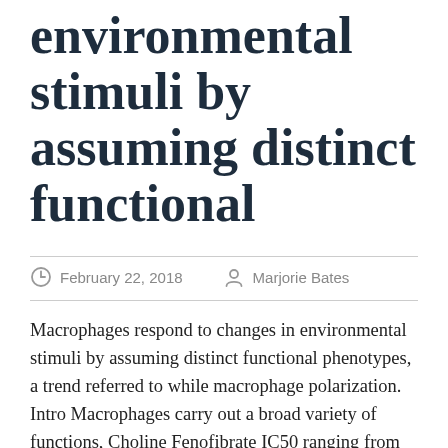environmental stimuli by assuming distinct functional
February 22, 2018   Marjorie Bates
Macrophages respond to changes in environmental stimuli by assuming distinct functional phenotypes, a trend referred to while macrophage polarization. Intro Macrophages carry out a broad variety of functions, Choline Fenofibrate IC50 ranging from distance of invading pathogens to the resolution of swelling and the maintenance of homeostasis during cells restoration and development. Choline Fenofibrate IC50 The practical versatility of macrophages is definitely in part due to their phenotypic plasticity